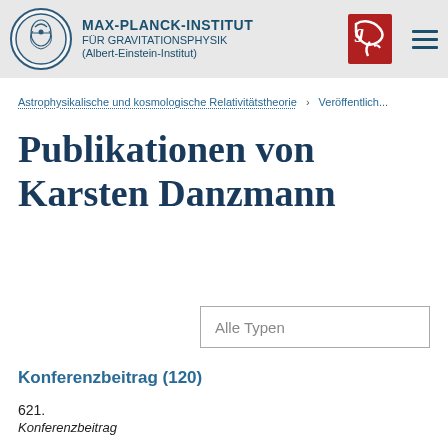MAX-PLANCK-INSTITUT FÜR GRAVITATIONSPHYSIK (Albert-Einstein-Institut)
Astrophysikalische und kosmologische Relativitätstheorie > Veröffentlich...
Publikationen von Karsten Danzmann
Alle Typen
Konferenzbeitrag (120)
621.
Konferenzbeitrag